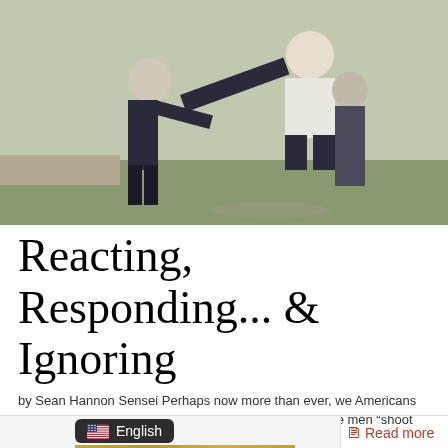[Figure (photo): Two people practicing martial arts outdoors on grass, one person in dark clothing throwing or grappling with another person in light/white clothing]
Reacting, Responding... & Ignoring
by Sean Hannon Sensei Perhaps now more than ever, we Americans seem to live in an increasingly “reactionary” world. Some men “shoot first” and ask questions [...]
Read more
[Figure (screenshot): English language selector badge with US flag icon and text 'English' on dark background, with partial gold/yellow image below]